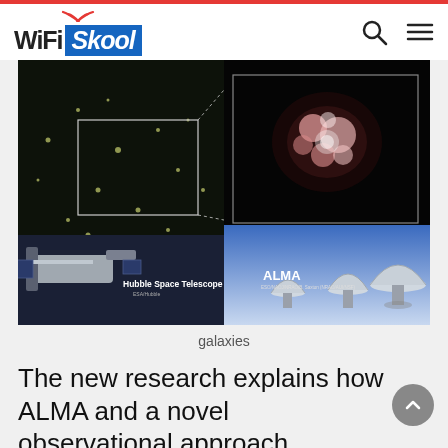WiFi Skool
[Figure (photo): Composite image showing Hubble Space Telescope and ALMA telescope array with inset images of a distant galaxy field and a bright galaxy object in pink/white on black background. Labels read 'Hubble Space Telescope' and 'ALMA'.]
galaxies
The new research explains how ALMA and a novel observational approach developed by Oesch and colleagues